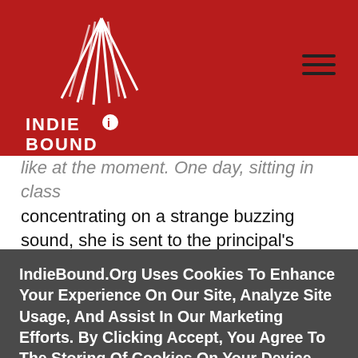IndieBound logo and navigation header
like at the moment. One day, sitting in class concentrating on a strange buzzing sound, she is sent to the principal’s office for not paying attention. She opens the door to a supply closet and is plunged into a fairy-talelike world in an alternate universe. She encounters children traveling to the “camps” to
IndieBound.Org Uses Cookies To Enhance Your Experience On Our Site, Analyze Site Usage, And Assist In Our Marketing Efforts. By Clicking Accept, You Agree To The Storing Of Cookies On Your Device. View Our Cookie Policy.
Give me more info
Accept all Cookies